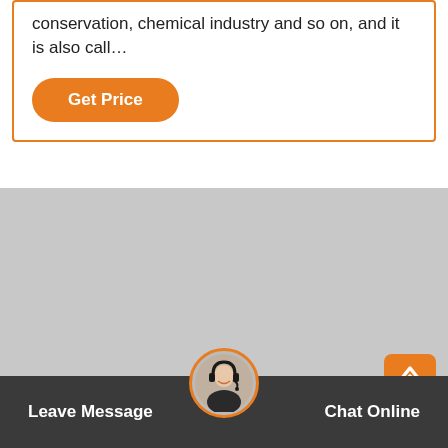conservation, chemical industry and so on, and it is also call…
Get Price
[Figure (photo): Large gray placeholder image area]
[Figure (photo): Customer service representative avatar with headset in orange circle]
Leave Message
Chat Online